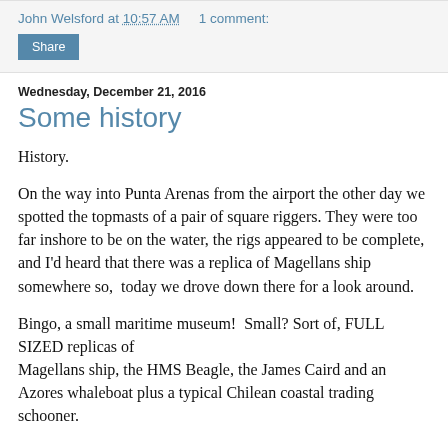John Welsford at 10:57 AM    1 comment:
Share
Wednesday, December 21, 2016
Some history
History.
On the way into Punta Arenas from the airport the other day we spotted the topmasts of a pair of square riggers. They were too far inshore to be on the water, the rigs appeared to be complete, and I'd heard that there was a replica of Magellans ship somewhere so,  today we drove down there for a look around.
Bingo, a small maritime museum!  Small? Sort of, FULL SIZED replicas of
Magellans ship, the HMS Beagle, the James Caird and an Azores whaleboat plus a typical Chilean coastal trading schooner.